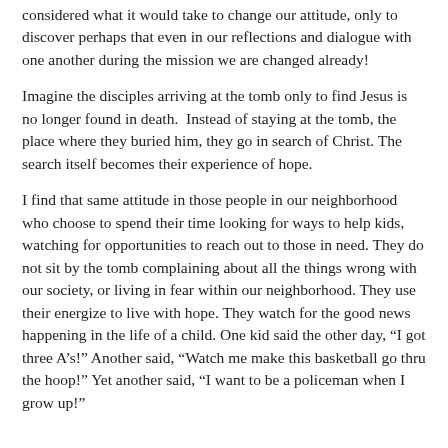considered what it would take to change our attitude, only to discover perhaps that even in our reflections and dialogue with one another during the mission we are changed already!
Imagine the disciples arriving at the tomb only to find Jesus is no longer found in death.  Instead of staying at the tomb, the place where they buried him, they go in search of Christ. The search itself becomes their experience of hope.
I find that same attitude in those people in our neighborhood who choose to spend their time looking for ways to help kids, watching for opportunities to reach out to those in need. They do not sit by the tomb complaining about all the things wrong with our society, or living in fear within our neighborhood. They use their energize to live with hope. They watch for the good news happening in the life of a child. One kid said the other day, “I got three A’s!” Another said, “Watch me make this basketball go thru the hoop!” Yet another said, “I want to be a policeman when I grow up!” Our children are at the forefront of their dreams and it is...